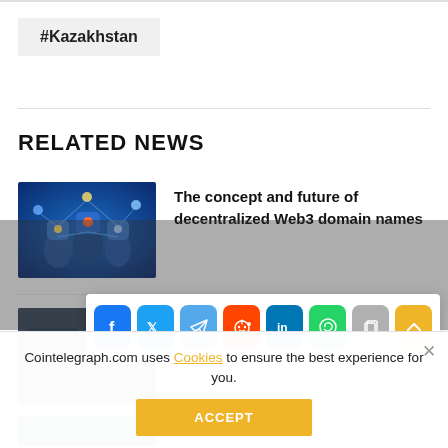#Kazakhstan
RELATED NEWS
[Figure (illustration): Thumbnail image of robotic figures connected by glowing network lines on blue background, representing decentralized Web3]
The concept and future of decentralized Web3 domain names
[Figure (screenshot): Social share bar with Facebook, Twitter, Telegram, Reddit, LinkedIn, WhatsApp, Copy, and scroll-up buttons]
[Figure (photo): Dimmed thumbnail image for second news article]
Blockchains are forever: DLT makes … transparent
[Figure (photo): Dimmed thumbnail image for third news article]
Cointelegraph.com uses Cookies to ensure the best experience for you.
ACCEPT